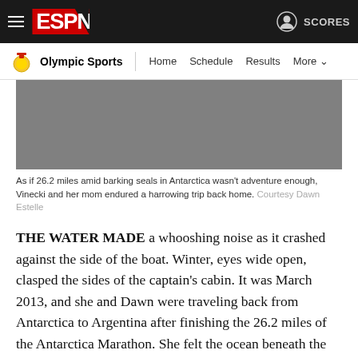ESPN Olympic Sports — Home | Schedule | Results | More | SCORES
[Figure (photo): Gray placeholder image of Antarctica Marathon scene]
As if 26.2 miles amid barking seals in Antarctica wasn't adventure enough, Vinecki and her mom endured a harrowing trip back home. Courtesy Dawn Estelle
THE WATER MADE a whooshing noise as it crashed against the side of the boat. Winter, eyes wide open, clasped the sides of the captain's cabin. It was March 2013, and she and Dawn were traveling back from Antarctica to Argentina after finishing the 26.2 miles of the Antarctica Marathon. She felt the ocean beneath the boat swell. Then she felt the boat rise. She sat, for hours, and watched the captain as he steered the boat through the Drake Passage, a treacherous part of the ocean that has claimed the lives of thousands of sailors.